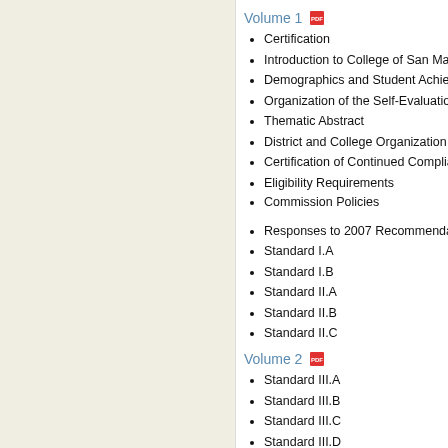Volume 1
Certification
Introduction to College of San Ma…
Demographics and Student Achie…
Organization of the Self-Evaluatio…
Thematic Abstract
District and College Organization
Certification of Continued Complia…
Eligibility Requirements
Commission Policies
Responses to 2007 Recommenda…
Standard I.A
Standard I.B
Standard II.A
Standard II.B
Standard II.C
Volume 2
Standard III.A
Standard III.B
Standard III.C
Standard III.D
Standard IV.A
Standard IV.B